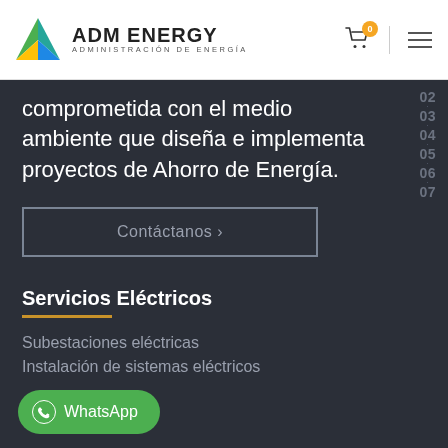ADM ENERGY — ADMINISTRACIÓN DE ENERGÍA
comprometida con el medio ambiente que diseña e implementa proyectos de Ahorro de Energía.
Contáctanos ›
Servicios Eléctricos
Subestaciones eléctricas
Instalación de sistemas eléctricos
WhatsApp